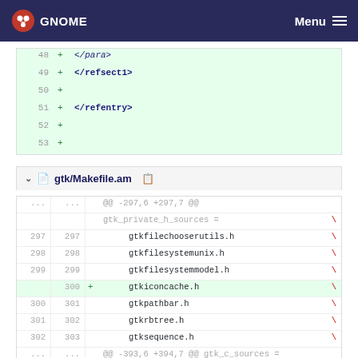GNOME  Menu
[Figure (screenshot): Code diff snippet showing lines 48-53 with added XML closing tags </para>, </refsect1>, </refentry>]
gtk/Makefile.am
[Figure (screenshot): Code diff snippet for gtk/Makefile.am showing lines 297-303 and a hunk header, with line 300 added: gtkiconcache.h \]
@@ -297,6 +297,7 @@
gtk_private_h_sources = \
gtkfilechooserutils.h \
gtkfilesystemunix.h \
gtkfilesystemmodel.h \
+ gtkiconcache.h \
gtkpathbar.h \
gtkrbtree.h \
gtksequence.h \
@@ -393,6 +394,7 @@ gtk_c_sources =
\
393  394  gtkhsy.c \